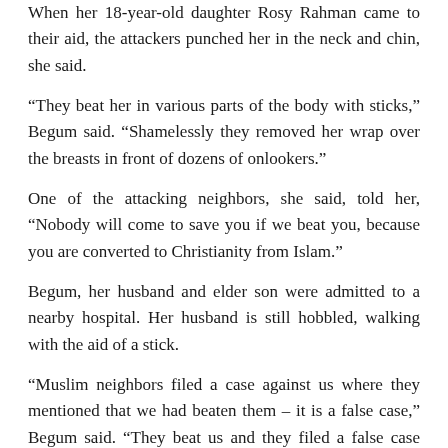When her 18-year-old daughter Rosy Rahman came to their aid, the attackers punched her in the neck and chin, she said.
“They beat her in various parts of the body with sticks,” Begum said. “Shamelessly they removed her wrap over the breasts in front of dozens of onlookers.”
One of the attacking neighbors, she said, told her, “Nobody will come to save you if we beat you, because you are converted to Christianity from Islam.”
Begum, her husband and elder son were admitted to a nearby hospital. Her husband is still hobbled, walking with the aid of a stick.
“Muslim neighbors filed a case against us where they mentioned that we had beaten them – it is a false case,” Begum said. “They beat us and they filed a false case against us.”